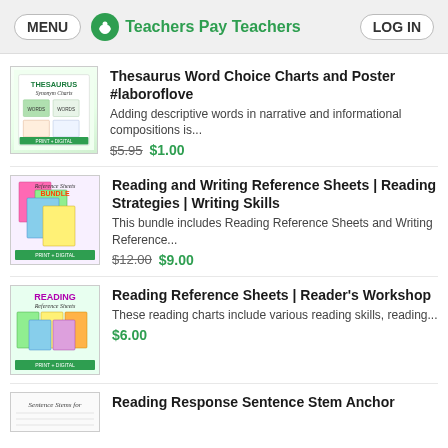MENU | Teachers Pay Teachers | LOG IN
[Figure (other): Thesaurus Word Choice Charts and Poster product thumbnail]
Thesaurus Word Choice Charts and Poster #laboroflove
Adding descriptive words in narrative and informational compositions is...
$5.95 $1.00
[Figure (other): Reading and Writing Reference Sheets Bundle product thumbnail]
Reading and Writing Reference Sheets | Reading Strategies | Writing Skills
This bundle includes Reading Reference Sheets and Writing Reference...
$12.00 $9.00
[Figure (other): Reading Reference Sheets Reader's Workshop product thumbnail]
Reading Reference Sheets | Reader's Workshop
These reading charts include various reading skills, reading...
$6.00
[Figure (other): Reading Response Sentence Stem Anchor product thumbnail]
Reading Response Sentence Stem Anchor